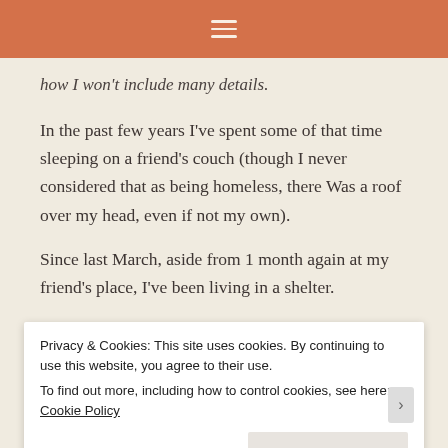≡
how I won't include many details.
In the past few years I've spent some of that time sleeping on a friend's couch (though I never considered that as being homeless, there Was a roof over my head, even if not my own).
Since last March, aside from 1 month again at my friend's place, I've been living in a shelter.
[Figure (photo): Dark outdoor forest/nature photo showing trees with green foliage, dark tones]
Privacy & Cookies: This site uses cookies. By continuing to use this website, you agree to their use.
To find out more, including how to control cookies, see here: Cookie Policy
Close and accept